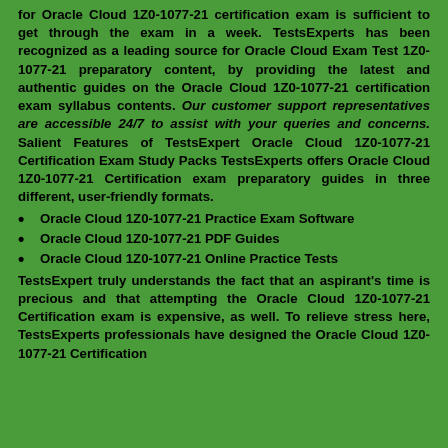for Oracle Cloud 1Z0-1077-21 certification exam is sufficient to get through the exam in a week. TestsExperts has been recognized as a leading source for Oracle Cloud Exam Test 1Z0-1077-21 preparatory content, by providing the latest and authentic guides on the Oracle Cloud 1Z0-1077-21 certification exam syllabus contents. Our customer support representatives are accessible 24/7 to assist with your queries and concerns. Salient Features of TestsExpert Oracle Cloud 1Z0-1077-21 Certification Exam Study Packs TestsExperts offers Oracle Cloud 1Z0-1077-21 Certification exam preparatory guides in three different, user-friendly formats.
Oracle Cloud 1Z0-1077-21 Practice Exam Software
Oracle Cloud 1Z0-1077-21 PDF Guides
Oracle Cloud 1Z0-1077-21 Online Practice Tests
TestsExpert truly understands the fact that an aspirant's time is precious and that attempting the Oracle Cloud 1Z0-1077-21 Certification exam is expensive, as well. To relieve stress here, TestsExperts professionals have designed the Oracle Cloud 1Z0-1077-21 Certification